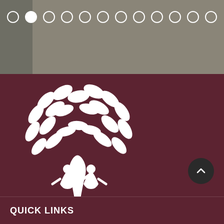[Figure (screenshot): Carousel pagination dots: one filled white circle followed by eleven hollow white circles on a grey/brown background]
[Figure (logo): White tree logo with leaf shapes and human figures as the trunk on a dark red/maroon background]
[Figure (other): Dark circular scroll-to-top button with upward chevron arrow]
QUICK LINKS